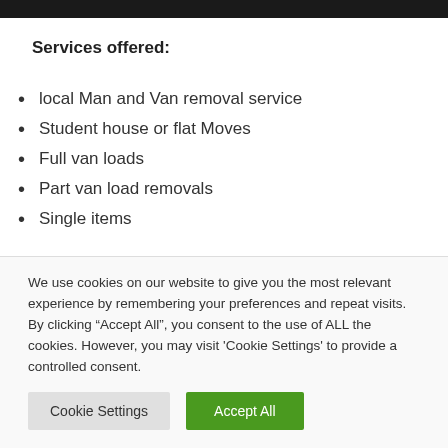[Figure (photo): Dark image bar at the top of the page]
Services offered:
local Man and Van removal service
Student house or flat Moves
Full van loads
Part van load removals
Single items
We use cookies on our website to give you the most relevant experience by remembering your preferences and repeat visits. By clicking “Accept All”, you consent to the use of ALL the cookies. However, you may visit 'Cookie Settings' to provide a controlled consent.